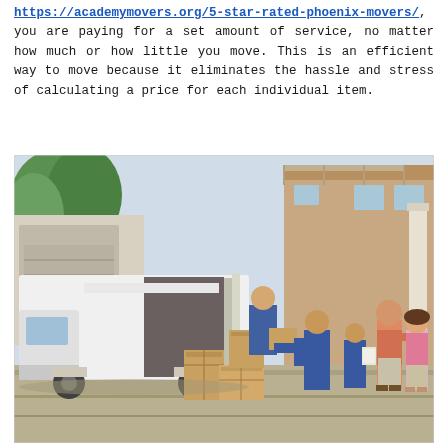https://academymovers.org/5-star-rated-phoenix-movers/, you are paying for a set amount of service, no matter how much or how little you move. This is an efficient way to move because it eliminates the hassle and stress of calculating a price for each individual item.
[Figure (photo): Moving scene: A white moving truck with its rear door open, movers in blue uniforms loading/unloading cardboard boxes, with a couple (man and woman) watching near a brick house.]